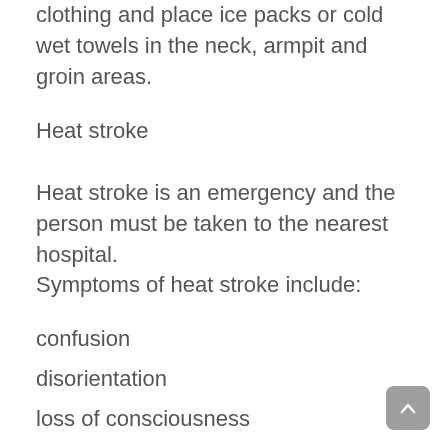clothing and place ice packs or cold wet towels in the neck, armpit and groin areas.
Heat stroke
Heat stroke is an emergency and the person must be taken to the nearest hospital.
Symptoms of heat stroke include:
confusion
disorientation
loss of consciousness
seizures